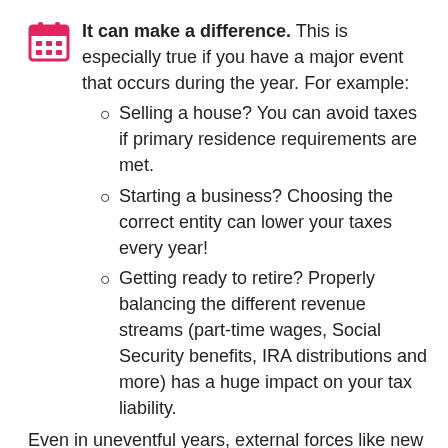It can make a difference. This is especially true if you have a major event that occurs during the year. For example:
Selling a house? You can avoid taxes if primary residence requirements are met.
Starting a business? Choosing the correct entity can lower your taxes every year!
Getting ready to retire? Properly balancing the different revenue streams (part-time wages, Social Security benefits, IRA distributions and more) has a huge impact on your tax liability.
Even in uneventful years, external forces like new tax laws can be managed if planned for